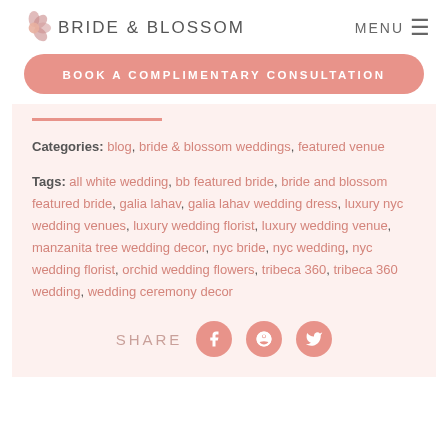BRIDE & BLOSSOM  MENU
BOOK A COMPLIMENTARY CONSULTATION
Categories: blog, bride & blossom weddings, featured venue
Tags: all white wedding, bb featured bride, bride and blossom featured bride, galia lahav, galia lahav wedding dress, luxury nyc wedding venues, luxury wedding florist, luxury wedding venue, manzanita tree wedding decor, nyc bride, nyc wedding, nyc wedding florist, orchid wedding flowers, tribeca 360, tribeca 360 wedding, wedding ceremony decor
SHARE